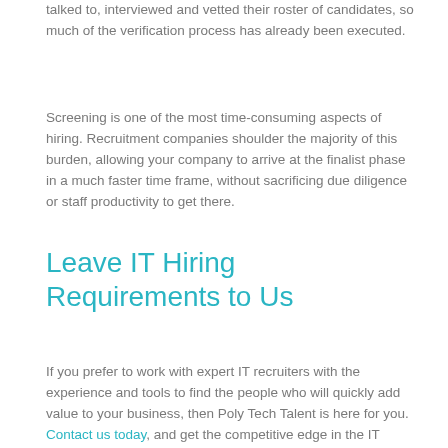talked to, interviewed and vetted their roster of candidates, so much of the verification process has already been executed.
Screening is one of the most time-consuming aspects of hiring. Recruitment companies shoulder the majority of this burden, allowing your company to arrive at the finalist phase in a much faster time frame, without sacrificing due diligence or staff productivity to get there.
Leave IT Hiring Requirements to Us
If you prefer to work with expert IT recruiters with the experience and tools to find the people who will quickly add value to your business, then Poly Tech Talent is here for you. Contact us today, and get the competitive edge in the IT requirements you need to bring your company and team to the next level.